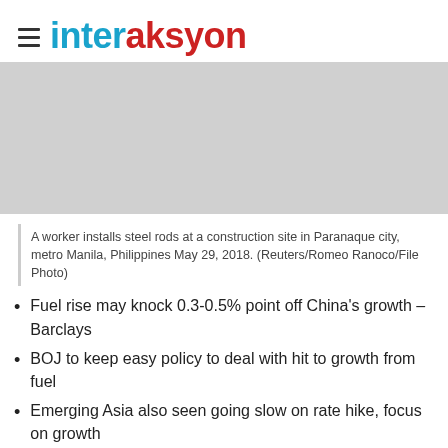interaksyon
[Figure (photo): A worker installs steel rods at a construction site in Paranaque city, metro Manila, Philippines (placeholder gray area)]
A worker installs steel rods at a construction site in Paranaque city, metro Manila, Philippines May 29, 2018. (Reuters/Romeo Ranoco/File Photo)
Fuel rise may knock 0.3-0.5% point off China's growth – Barclays
BOJ to keep easy policy to deal with hit to growth from fuel
Emerging Asia also seen going slow on rate hike, focus on growth
Rising fuel could heighten challenges for Asia